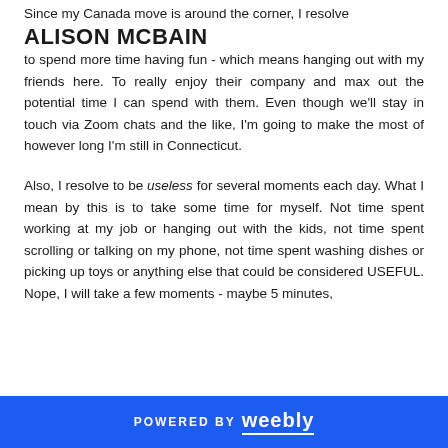Since my Canada move is around the corner, I resolve
ALISON MCBAIN
to spend more time having fun - which means hanging out with my friends here. To really enjoy their company and max out the potential time I can spend with them. Even though we'll stay in touch via Zoom chats and the like, I'm going to make the most of however long I'm still in Connecticut.

Also, I resolve to be useless for several moments each day. What I mean by this is to take some time for myself. Not time spent working at my job or hanging out with the kids, not time spent scrolling or talking on my phone, not time spent washing dishes or picking up toys or anything else that could be considered USEFUL. Nope, I will take a few moments - maybe 5 minutes,
POWERED BY weebly